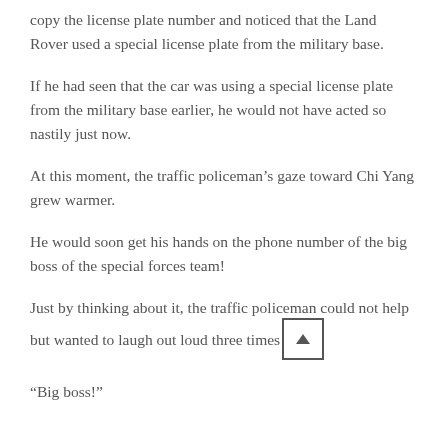copy the license plate number and noticed that the Land Rover used a special license plate from the military base.
If he had seen that the car was using a special license plate from the military base earlier, he would not have acted so nastily just now.
At this moment, the traffic policeman's gaze toward Chi Yang grew warmer.
He would soon get his hands on the phone number of the big boss of the special forces team!
Just by thinking about it, the traffic policeman could not help but wanted to laugh out loud three times
“Big boss!”